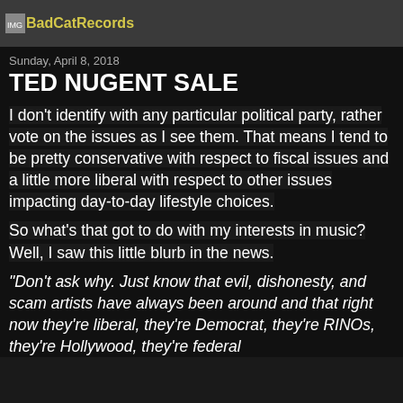BadCatRecords
Sunday, April 8, 2018
TED NUGENT SALE
I don't identify with any particular political party, rather vote on the issues as I see them.  That means I tend to be pretty conservative with respect to fiscal issues and a little more liberal with respect to other issues impacting day-to-day lifestyle choices.
So what's that got to do with my interests in music?  Well, I saw this little blurb in the news.
"Don't ask why. Just know that evil, dishonesty, and scam artists have always been around and that right now they're liberal, they're Democrat, they're RINOs, they're Hollywood, they're federal…